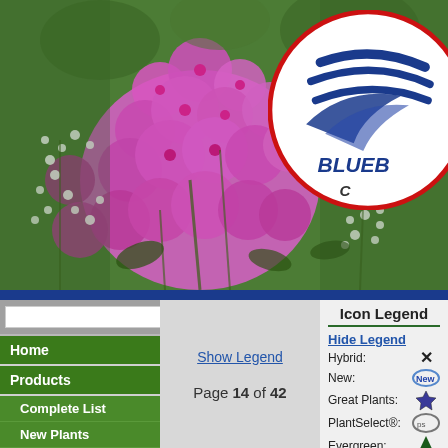[Figure (photo): Photo of pink/purple phlox flowers with small white flowers, garden plant catalog header image. Blueb... company logo circle overlaid on upper right.]
Search
Home
Products
Complete List
New Plants
Show Legend
Page 14 of 42
Icon Legend
Hide Legend
Hybrid:   ×
New:   (New)
Great Plants:   ♠
PlantSelect®:   (ps)
Evergreen:   ♠